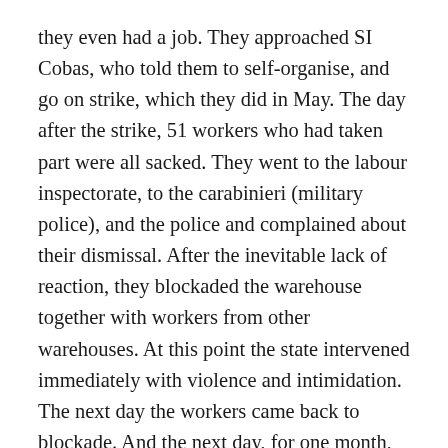they even had a job. They approached SI Cobas, who told them to self-organise, and go on strike, which they did in May. The day after the strike, 51 workers who had taken part were all sacked. They went to the labour inspectorate, to the carabinieri (military police), and the police and complained about their dismissal. After the inevitable lack of reaction, they blockaded the warehouse together with workers from other warehouses. At this point the state intervened immediately with violence and intimidation. The next day the workers came back to blockade. And the next day, for one month, two, three months...
The LegaCoop intervened. The warehouse which had sacked the people, the trade union associations, and the head of the police all signed an agreement stating that some workers would be reinstated, and further